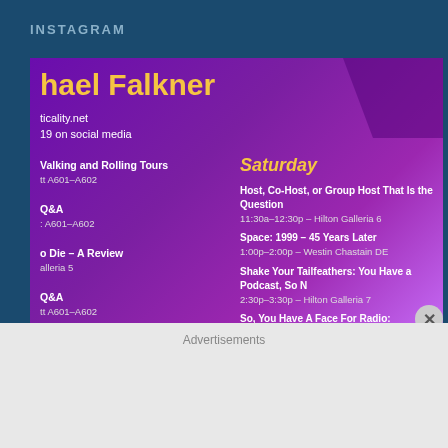INSTAGRAM
[Figure (screenshot): Screenshot of a convention schedule card for Michael Falkner from criticality.net, showing panels on Saturday, Sunday, and Monday against a purple gradient background]
Advertisements